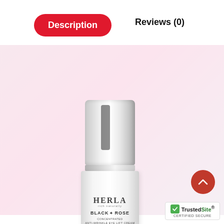Description
Reviews (0)
[Figure (photo): HERLA Rich Naturally Black Rose Concentrated Anti-Wrinkle Eye Lift Cream product bottle with silver cap on a light pink gradient background]
[Figure (logo): TrustedSite Certified Secure badge with green checkmark]